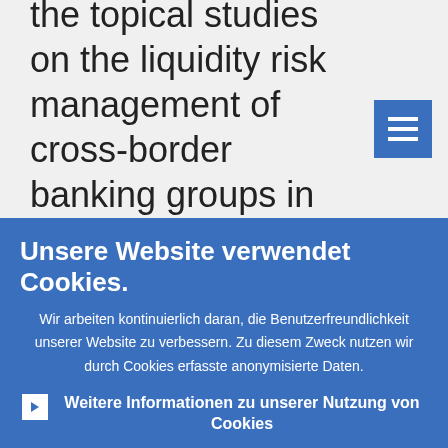the topical studies on the liquidity risk management of cross-border banking groups in the EU and the distribution channels in retail banking.
Unsere Website verwendet Cookies.
Wir arbeiten kontinuierlich daran, die Benutzerfreundlichkeit unserer Website zu verbessern. Zu diesem Zweck nutzen wir durch Cookies erfasste anonymisierte Daten.
Weitere Informationen zu unserer Nutzung von Cookies
Ich verstehe und stimme der Nutzung von Cookies zu
Ich stimme der Nutzung von Cookies nicht zu